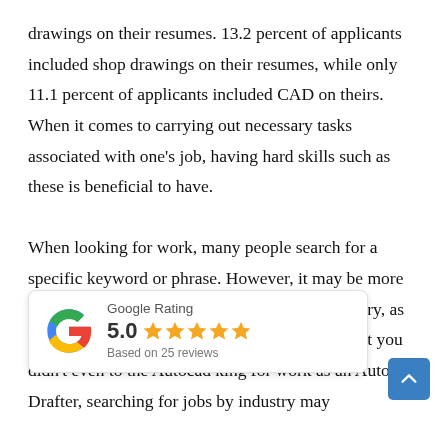drawings on their resumes. 13.2 percent of applicants included shop drawings on their resumes, while only 11.1 percent of applicants included CAD on theirs. When it comes to carrying out necessary tasks associated with one's job, having hard skills such as these is beneficial to have.

When looking for work, many people search for a specific keyword or phrase. However, it may be more helpful to search for jobs according to the industry, as you may be missing out on jobs that you had that you didn't even to the Autocad king for work as an Autocad Drafter, searching for jobs by industry may
[Figure (other): Google Rating widget showing 5.0 stars based on 25 reviews, with the Google 'G' logo in multicolor on the left.]